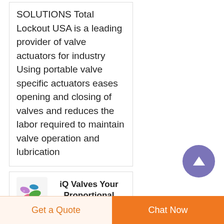SOLUTIONS Total Lockout USA is a leading provider of valve actuators for industry Using portable valve specific actuators eases opening and closing of valves and reduces the labor required to maintain valve operation and lubrication
iQ Valves Your Proportional Valve Experts USA
Proportional Valves We offer the widest range of solenoid proportional valve flow ranges in the industry Ranging from
[Figure (logo): iQ Valves logo with colorful teardrop/petal shapes in pink, green, blue, and purple]
Get a Quote
Chat Now